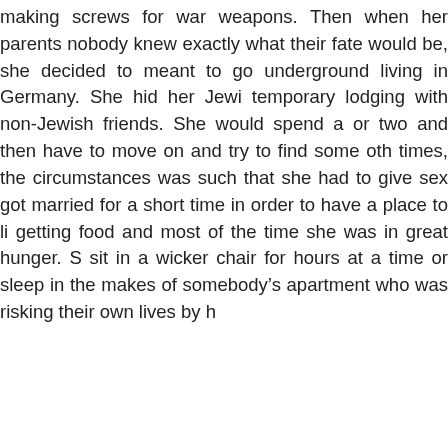making screws for war weapons. Then when her parents nobody knew exactly what their fate would be, she decided to meant to go underground living in Germany. She hid her Jewi temporary lodging with non-Jewish friends. She would spend a or two and then have to move on and try to find some oth times, the circumstances was such that she had to give sex got married for a short time in order to have a place to li getting food and most of the time she was in great hunger. S sit in a wicker chair for hours at a time or sleep in the makes of somebody's apartment who was risking their own lives by h